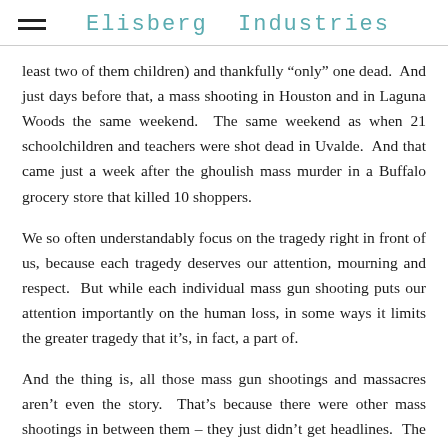Elisberg Industries
least two of them children) and thankfully “only” one dead.  And just days before that, a mass shooting in Houston and in Laguna Woods the same weekend.  The same weekend as when 21 schoolchildren and teachers were shot dead in Uvalde.  And that came just a week after the ghoulish mass murder in a Buffalo grocery store that killed 10 shoppers.
We so often understandably focus on the tragedy right in front of us, because each tragedy deserves our attention, mourning and respect.  But while each individual mass gun shooting puts our attention importantly on the human loss, in some ways it limits the greater tragedy that it’s, in fact, a part of.
And the thing is, all those mass gun shootings and massacres aren’t even the story.  That’s because there were other mass shootings in between them – they just didn’t get headlines.  The other headlines and grieving were even greater.